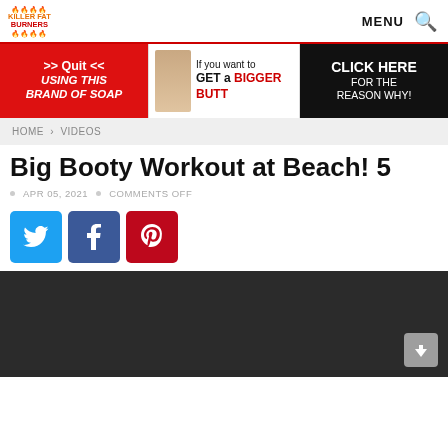KILLER FAT BURNERS | MENU
[Figure (infographic): Advertisement banner with three sections: red section saying '>> Quit << USING THIS BRAND OF SOAP', middle section with woman photo saying 'If you want to GET a BIGGER BUTT', black section saying 'CLICK HERE FOR THE REASON WHY!']
HOME > VIDEOS
Big Booty Workout at Beach! 5
APR 05, 2021 • COMMENTS OFF
[Figure (infographic): Social share buttons: Twitter (blue), Facebook (dark blue), Pinterest (red)]
[Figure (screenshot): Dark video embed area (black/dark gray background)]